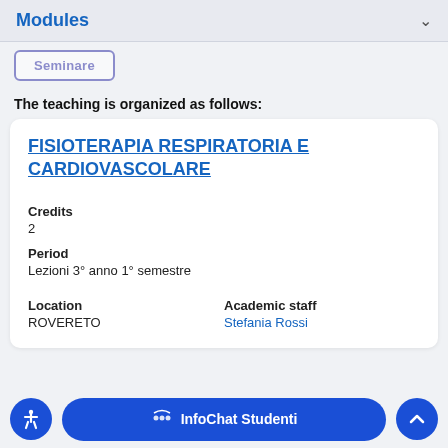Modules
Seminare
The teaching is organized as follows:
FISIOTERAPIA RESPIRATORIA E CARDIOVASCOLARE
Credits
2
Period
Lezioni 3° anno 1° semestre
Location
ROVERETO
Academic staff
Stefania Rossi
InfoChat Studenti